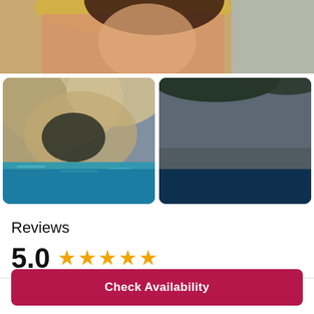[Figure (photo): Partial photo of a woman with dark hair and a yellow hat at the top of the page, clipped at the top]
[Figure (photo): Photo of a sea cave with turquoise water and rocky limestone formations]
[Figure (photo): Photo of rocky cliffs with 'See More' overlay and arrow circle button]
Reviews
5.0 ★★★★★
275 reviews
Check Availability